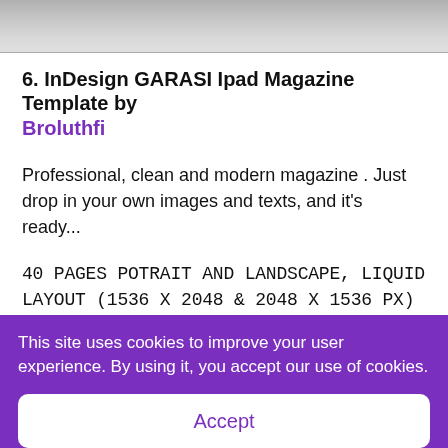[Figure (photo): Partial image at top of page, gray/blurred background]
6. InDesign GARASI Ipad Magazine Template by Broluthfi
Professional, clean and modern magazine . Just drop in your own images and texts, and it's ready...
40 PAGES POTRAIT AND LANDSCAPE, LIQUID LAYOUT (1536 X 2048 & 2048 X 1536 PX) – RETINA, PARAGRAPH STYLE, CHARACTER STYLE, AUTOMATIC PAGE NUMBER, EASY TO ADD MORE PAGES, EASY TO
This site uses cookies to improve your user experience. By using it, you accept our use of cookies.
Accept